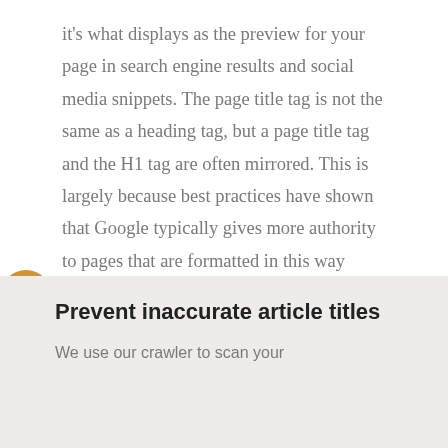it's what displays as the preview for your page in search engine results and social media snippets. The page title tag is not the same as a heading tag, but a page title tag and the H1 tag are often mirrored. This is largely because best practices have shown that Google typically gives more authority to pages that are formatted in this way because it views those pages as being more accurate.
Prevent inaccurate article titles
We use our crawler to scan your